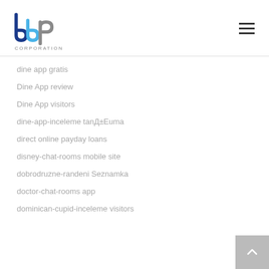[Figure (logo): BBP Corporation logo with blue and grey lettering and CORPORATION text below]
dine app gratis
Dine App review
Dine App visitors
dine-app-inceleme tanД±Еuma
direct online payday loans
disney-chat-rooms mobile site
dobrodruzne-randeni Seznamka
doctor-chat-rooms app
dominican-cupid-inceleme visitors